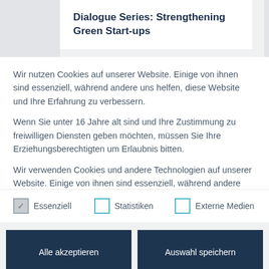Dialogue Series: Strengthening Green Start-ups
Wir nutzen Cookies auf unserer Website. Einige von ihnen sind essenziell, während andere uns helfen, diese Website und Ihre Erfahrung zu verbessern.
Wenn Sie unter 16 Jahre alt sind und Ihre Zustimmung zu freiwilligen Diensten geben möchten, müssen Sie Ihre Erziehungsberechtigten um Erlaubnis bitten.
Wir verwenden Cookies und andere Technologien auf unserer Website. Einige von ihnen sind essenziell, während andere uns helfen, diese Website und Ihre Erfahrung zu verbessern.
Essenziell
Statistiken
Externe Medien
Alle akzeptieren
Auswahl speichern